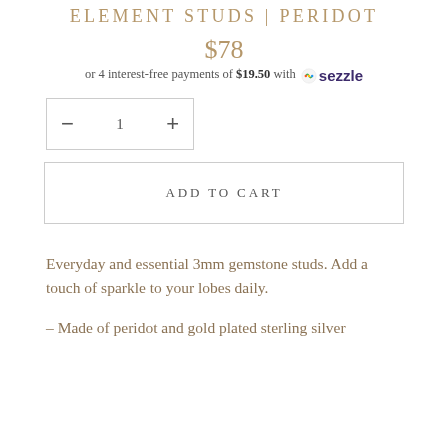ELEMENT STUDS | PERIDOT
$78
or 4 interest-free payments of $19.50 with 🔁 sezzle
− 1 +
ADD TO CART
Everyday and essential 3mm gemstone studs. Add a touch of sparkle to your lobes daily.
– Made of peridot and gold plated sterling silver